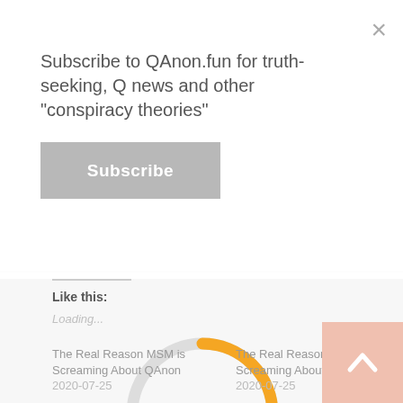Subscribe to QAnon.fun for truth-seeking, Q news and other “conspiracy theories”
Subscribe
×
Like this:
Loading...
[Figure (other): Circular loading spinner with orange arc on upper-right portion and light gray arc on lower-left portion]
The Real Reason MSM is Screaming About QAnon 2020-07-25
The Real Reason MSM is Screaming About QAnon 2020-07-25